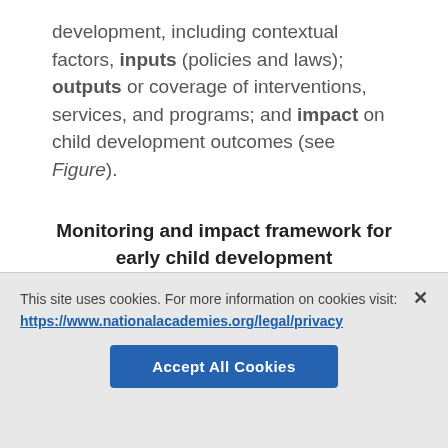development, including contextual factors, inputs (policies and laws); outputs or coverage of interventions, services, and programs; and impact on child development outcomes (see Figure).
Monitoring and impact framework for early child development
[Figure (infographic): Partial view of monitoring and impact framework diagram showing a green background with a red rounded rectangle on the left and a blue rounded rectangle on the upper right.]
This site uses cookies. For more information on cookies visit: https://www.nationalacademies.org/legal/privacy
Accept All Cookies